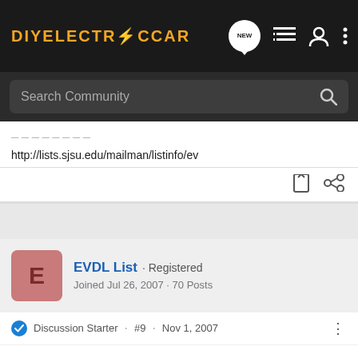[Figure (logo): DIYElectricCar logo with lightning bolt, orange text on dark background]
[Figure (screenshot): Search Community bar with magnifying glass icon]
http://lists.sjsu.edu/mailman/listinfo/ev
EVDL List · Registered
Joined Jul 26, 2007 · 70 Posts
Discussion Starter · #9 · Nov 1, 2007
Well, the light finally started flashing a few minutes ago, so the timer's going. Volts reads ~174. The weird thing is the DC amps; I'm starting to think Evan's right and that ammeter is just broken.